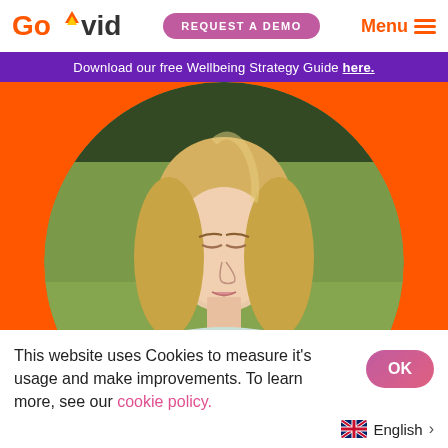[Figure (logo): GoVida logo with orange chevron/checkmark between 'Go' and 'vida']
REQUEST A DEMO
Menu
Download our free Wellbeing Strategy Guide here.
[Figure (photo): Young blonde woman with eyes closed meditating outdoors, in a circular crop on an orange background]
This website uses Cookies to measure it’s usage and make improvements. To learn more, see our cookie policy.
OK
English